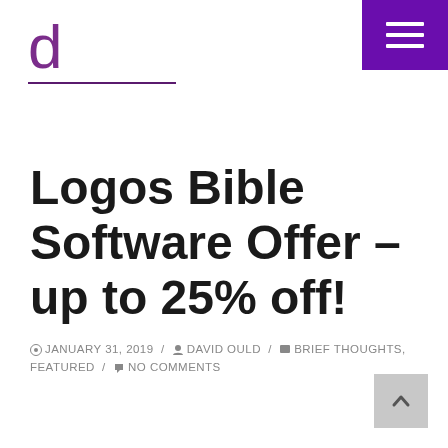[Figure (logo): Purple letter 'd' logo with underline, website logo]
[Figure (other): Purple hamburger menu button in top right corner]
Logos Bible Software Offer – up to 25% off!
JANUARY 31, 2019 / DAVID OULD / BRIEF THOUGHTS, FEATURED / NO COMMENTS
[Figure (other): Gray back-to-top button with upward arrow in bottom right corner]